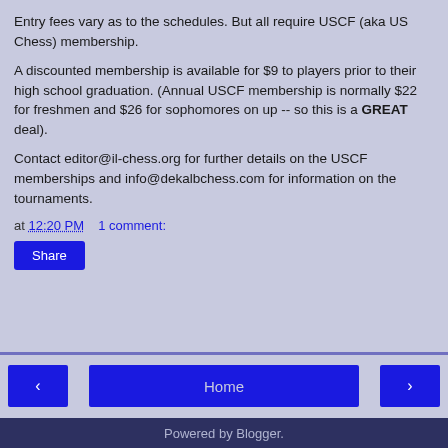Entry fees vary as to the schedules. But all require USCF (aka US Chess) membership.
A discounted membership is available for $9 to players prior to their high school graduation. (Annual USCF membership is normally $22 for freshmen and $26 for sophomores on up -- so this is a GREAT deal).
Contact editor@il-chess.org for further details on the USCF memberships and info@dekalbchess.com for information on the tournaments.
at 12:20 PM   1 comment:
Share
Powered by Blogger.